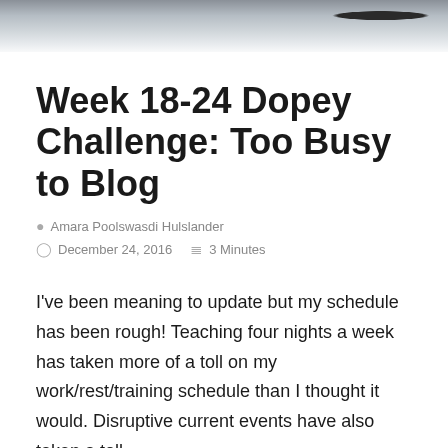[Figure (photo): Partial outdoor photo at top of page showing a road or path with muted colors, gray-brown tones, partially cropped]
Week 18-24 Dopey Challenge: Too Busy to Blog
Amara Poolswasdi Hulslander
December 24, 2016   3 Minutes
I've been meaning to update but my schedule has been rough! Teaching four nights a week has taken more of a toll on my work/rest/training schedule than I thought it would. Disruptive current events have also taken a toll